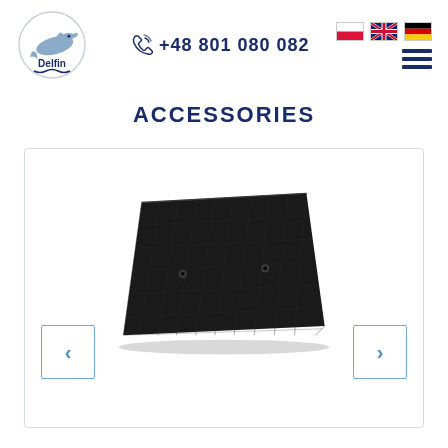[Figure (logo): Delfin company logo with dolphin graphic and text 'Delfin' inside a circle]
+48 801 080 082
[Figure (other): Language flag icons: Polish flag (red/white), UK flag (Union Jack), German flag (black/red/yellow) and hamburger menu icon]
ACCESSORIES
[Figure (photo): Black textured rectangular mat/filter panel with two small circular holes, viewed at a slight angle, on a white background. Navigation arrows on left and right sides.]